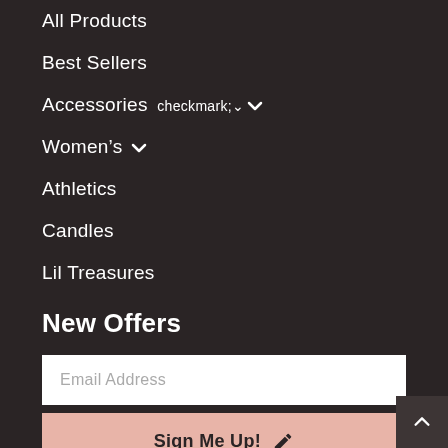All Products
Best Sellers
Accessories ▾
Women's ▾
Athletics
Candles
Lil Treasures
New Offers
Email Address
Sign Me Up!